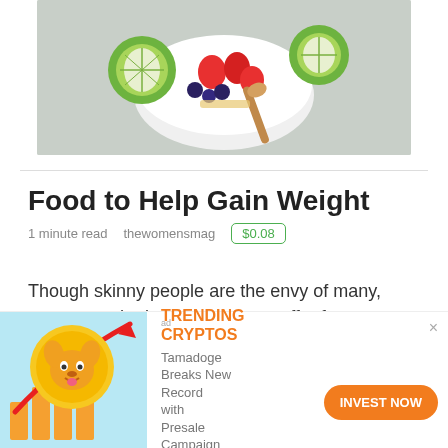[Figure (photo): Top-down photo of a white bowl with fruits including strawberries, kiwi, blueberries and granola on a grey surface, with a wooden spoon]
Food to Help Gain Weight
1 minute read   thewomensmag   $0.08
Though skinny people are the envy of many, someone who is too lean may suffer from a variety of health conditions, including osteoporosis, fatigue and a weakened immune system. For some people, gaining weight may be as difficult as losing weight. Acc...
[Figure (illustration): Ad banner: Cartoon illustration of a golden Shiba Inu dog coin with rising bar chart and red arrow. Text: TRENDING CRYPTOS. Tamadoge Breaks New Record with Presale Campaign. INVEST NOW button.]